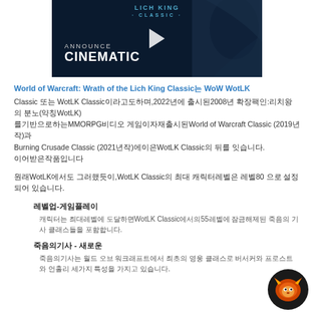[Figure (screenshot): Video thumbnail for World of Warcraft Wrath of the Lich King Classic Announce Cinematic with play button overlay, dark blue background with game art]
World of Warcraft: Wrath of the Lich King Classic는 WoW WotLK Classic 또는 WotLK Classic이라고도하며,2022년에 출시된2008년 확장팩인:리치왕의 분노(약칭WotLK)를 기반으로하는MMORPG비디오 게임이자재출시된World of Warcraft Classic (2019년작)과 Burning Crusade Classic (2021년작)에이은WotLK Classic의 뒤를 잇습니다.
원래WotLK에서도 그러했듯이,WotLK Classic의 최대 캐릭터레벨은 레벨80으로 설정되어 있습니다.
레벨업-게임플레이
캐릭터는 최대레벨에 도달하면WotLK Classic에서의55레벨에 잠금해제된 죽음의 기사 클래스들을 포함합니다.
죽음의기사 - 새로운
죽음의기사는 월드 오브 워크래프트에서 최초의 영웅 클래스로 버서커와 프로스트와 언홀리 세가지 특성을 가지고 있습니다.